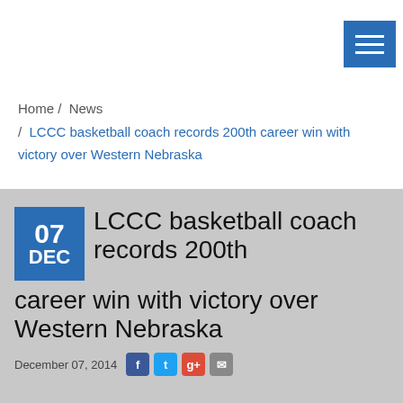[Figure (other): Hamburger menu icon button (three horizontal white lines on blue background) in top right corner]
Home /  News /  LCCC basketball coach records 200th career win with victory over Western Nebraska
LCCC basketball coach records 200th career win with victory over Western Nebraska
December 07, 2014